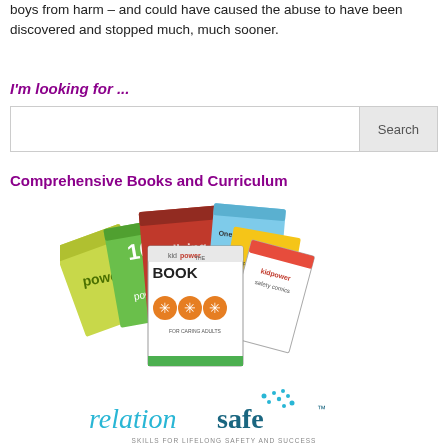boys from harm – and could have caused the abuse to have been discovered and stopped much, much sooner.
I'm looking for ...
[Figure (screenshot): Search input box with 'Search' button on the right side]
Comprehensive Books and Curriculum
[Figure (photo): A fan of educational books including 'The Kidpower Book', 'bullying', 'One Strong Move', 'fullpower', 'kidpower safety comics', and other Kidpower publications]
[Figure (logo): Relationsafe logo with teal/blue text and scattered dots motif, with tagline 'SKILLS FOR LIFELONG SAFETY AND SUCCESS']